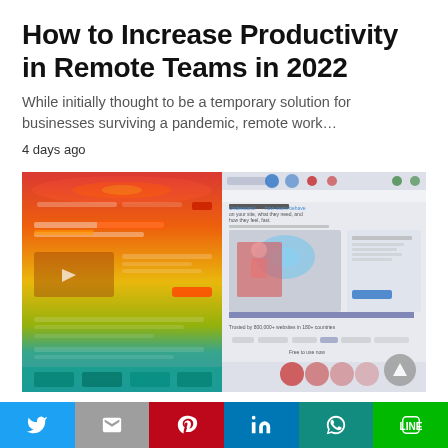How to Increase Productivity in Remote Teams in 2022
While initially thought to be a temporary solution for businesses surviving a pandemic, remote work…
4 days ago
[Figure (screenshot): Side-by-side comparison of a website heatmap view (left, with red/yellow/green heat overlay) and the normal website view (right), showing a Hotjar-style user behavior analytics interface with the text 'Understand how users behave on your site, what they need, and how they feel, fast.']
TECHNOLOGY
Twitter | Gmail | Pinterest | LinkedIn | WhatsApp | LINE social share buttons